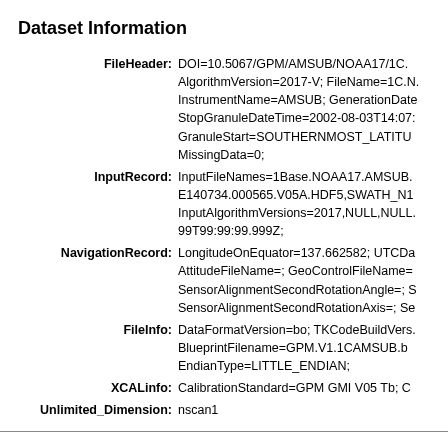Dataset Information
FileHeader: DOI=10.5067/GPM/AMSUB/NOAA17/1C... AlgorithmVersion=2017-V; FileName=1C.N... InstrumentName=AMSUB; GenerationDate... StopGranuleDateTime=2002-08-03T14:07:... GranuleStart=SOUTHERNMOST_LATITU... MissingData=0;
InputRecord: InputFileNames=1Base.NOAA17.AMSUB... E140734.000565.V05A.HDF5,SWATH_N1... InputAlgorithmVersions=2017,NULL,NULL... 99T99:99:99.999Z;
NavigationRecord: LongitudeOnEquator=137.662582; UTCDa... AttitudeFileName=; GeoControlFileName=... SensorAlignmentSecondRotationAngle=; S... SensorAlignmentSecondRotationAxis=; Se...
FileInfo: DataFormatVersion=bo; TKCodeBuildVers... BlueprintFilename=GPM.V1.1CAMSUB.b... EndianType=LITTLE_ENDIAN;
XCALinfo: CalibrationStandard=GPM GMI V05 Tb; C...
Unlimited_Dimension: nscan1